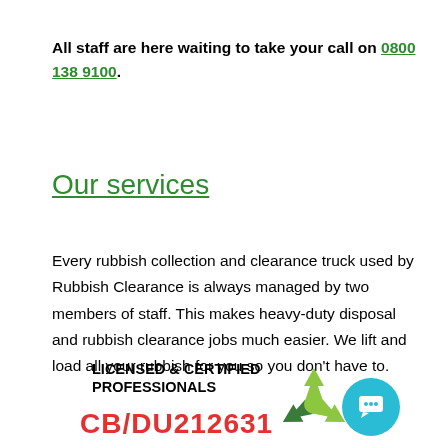All staff are here waiting to take your call on 0800 138 9100.
Our services
Every rubbish collection and clearance truck used by Rubbish Clearance is always managed by two members of staff. This makes heavy-duty disposal and rubbish clearance jobs much easier. We lift and load all your rubbish for you so you don't have to.
[Figure (infographic): Badge showing 'LICENSED & CERTIFIED PROFESSIONALS' in bold black text, 'CB/DU212631' in bold red text, a green recycling symbol graphic, and a cyan circular chat button icon in the bottom-right corner.]